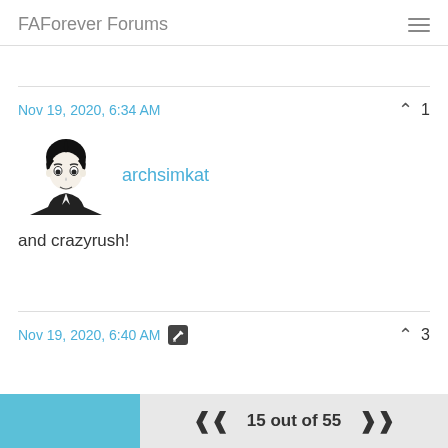FAForever Forums
Nov 19, 2020, 6:34 AM
archsimkat
and crazyrush!
Nov 19, 2020, 6:40 AM
15 out of 55